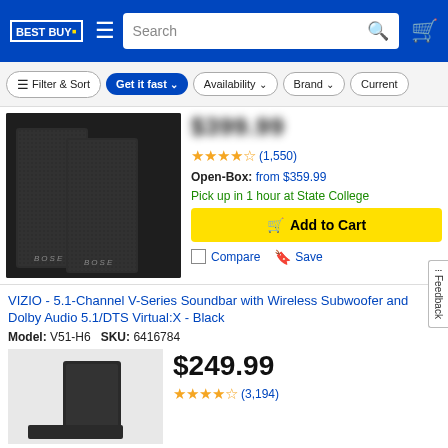Best Buy — Search bar — Navigation
Filter & Sort  Get it fast  Availability  Brand  Current
[Figure (photo): Two black Bose surround speakers on a white/dark background]
$399.99 (blurred)
★★★★½ (1,550)
Open-Box: from $359.99
Pick up in 1 hour at State College
Add to Cart
Compare  Save
VIZIO - 5.1-Channel V-Series Soundbar with Wireless Subwoofer and Dolby Audio 5.1/DTS Virtual:X - Black
Model: V51-H6  SKU: 6416784
[Figure (photo): Black VIZIO subwoofer and soundbar components]
$249.99
★★★★½ (3,194)